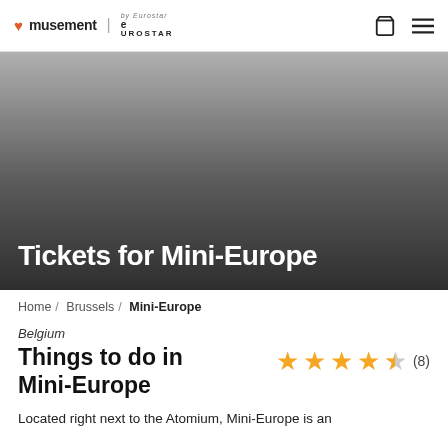musement | Eurostar — navigation bar with cart and menu icons
[Figure (photo): Dark grey gradient hero banner background for Mini-Europe tickets page]
Tickets for Mini-Europe
Home / Brussels / Mini-Europe
Belgium
Things to do in Mini-Europe
Rating: 4.5 stars (8 reviews)
Located right next to the Atomium, Mini-Europe is an